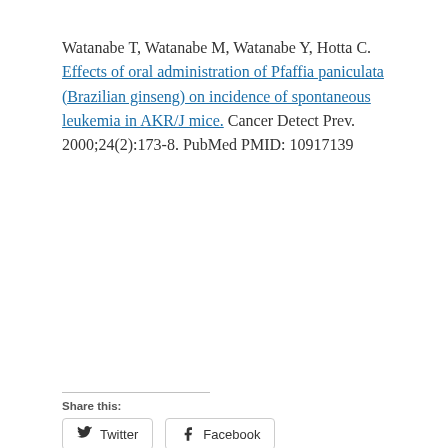Watanabe T, Watanabe M, Watanabe Y, Hotta C. Effects of oral administration of Pfaffia paniculata (Brazilian ginseng) on incidence of spontaneous leukemia in AKR/J mice. Cancer Detect Prev. 2000;24(2):173-8. PubMed PMID: 10917139
Share this:
Twitter  Facebook
Loading...
Related
Suma Root: Where And How To Buy, Fat Loss and...
De-Mystifying Ginseng: What It Does, What It...